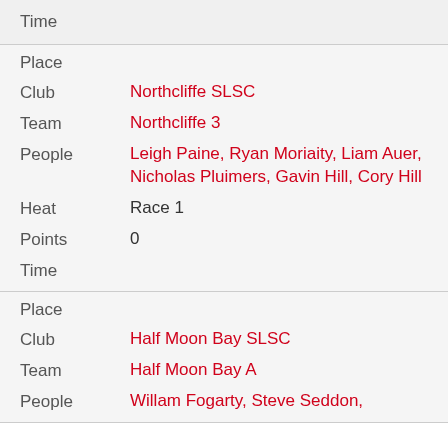| Time |  |
| Place |  |
| Club | Northcliffe SLSC |
| Team | Northcliffe 3 |
| People | Leigh Paine, Ryan Moriaity, Liam Auer, Nicholas Pluimers, Gavin Hill, Cory Hill |
| Heat | Race 1 |
| Points | 0 |
| Time |  |
| Place |  |
| Club | Half Moon Bay SLSC |
| Team | Half Moon Bay A |
| People | Willam Fogarty, Steve Seddon, |